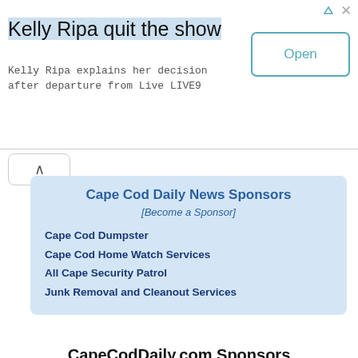[Figure (screenshot): Advertisement banner: Kelly Ripa quit the show - Kelly Ripa explains her decision after departure from Live LIVE9. Open button on right.]
Cape Cod Daily News Sponsors
[Become a Sponsor]
Cape Cod Dumpster
Cape Cod Home Watch Services
All Cape Security Patrol
Junk Removal and Cleanout Services
CapeCodDaily.com Sponsors
[Become a Sponsor]
Spring Cleaning? Rent a Roll-Off Dumpster
[Figure (photo): Strip of three photos showing dumpsters and outdoor scenes]